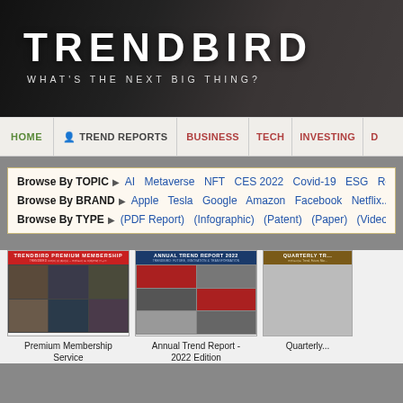[Figure (screenshot): Trendbird website header banner with city background photo, white bold TRENDBIRD title and subtitle WHAT'S THE NEXT BIG THING?]
HOME   TREND REPORTS   BUSINESS   TECH   INVESTING   D...
Browse By TOPIC ▶ AI  Metaverse  NFT  CES 2022  Covid-19  ESG  Re...
Browse By BRAND ▶ Apple  Tesla  Google  Amazon  Facebook  Netflix...
Browse By TYPE ▶ (PDF Report)  (Infographic)  (Patent)  (Paper)  (Video)...
[Figure (screenshot): Trendbird Premium Membership card thumbnail with red header and city photo grid]
Premium Membership Service
[Figure (screenshot): Annual Trend Report 2022 card thumbnail with dark blue header]
Annual Trend Report - 2022 Edition
[Figure (screenshot): Quarterly Trend Report card thumbnail with tan/brown header]
Quarterly...